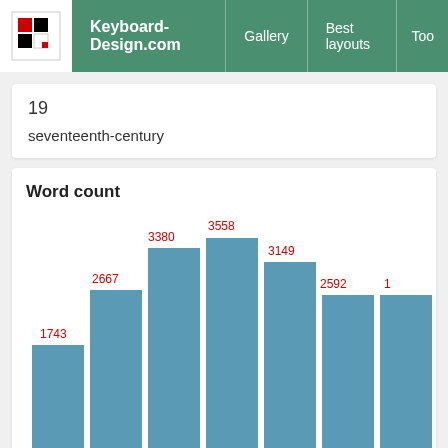Keyboard-Design.com | Gallery | Best layouts | Too...
19
seventeenth-century
Word count
[Figure (bar-chart): Word count]